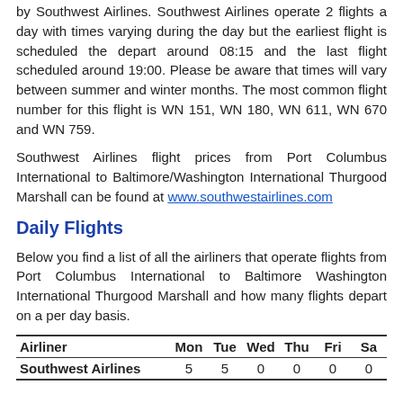by Southwest Airlines. Southwest Airlines operate 2 flights a day with times varying during the day but the earliest flight is scheduled the depart around 08:15 and the last flight scheduled around 19:00. Please be aware that times will vary between summer and winter months. The most common flight number for this flight is WN 151, WN 180, WN 611, WN 670 and WN 759.
Southwest Airlines flight prices from Port Columbus International to Baltimore/Washington International Thurgood Marshall can be found at www.southwestairlines.com
Daily Flights
Below you find a list of all the airliners that operate flights from Port Columbus International to Baltimore Washington International Thurgood Marshall and how many flights depart on a per day basis.
| Airliner | Mon | Tue | Wed | Thu | Fri | Sa |
| --- | --- | --- | --- | --- | --- | --- |
| Southwest Airlines | 5 | 5 | 0 | 0 | 0 | 0 |